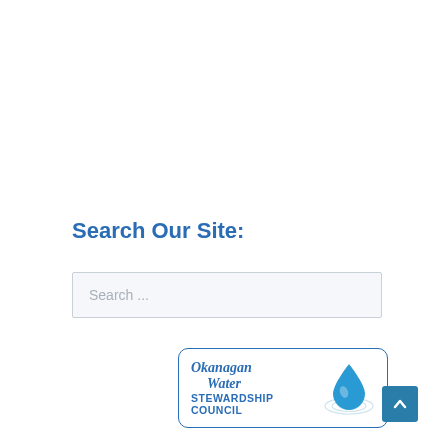Search Our Site:
Search ...
[Figure (logo): Okanagan Water Stewardship Council logo with water drop and ripple graphic]
[Figure (other): Back to top arrow button in teal/blue square]